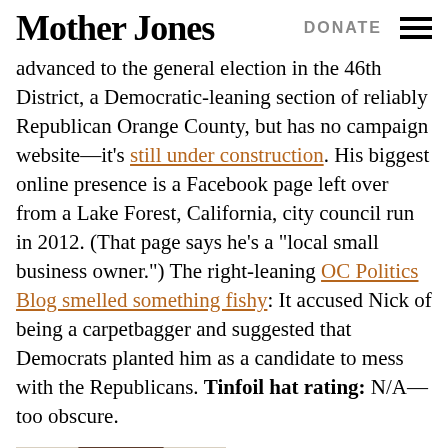Mother Jones  DONATE
advanced to the general election in the 46th District, a Democratic-leaning section of reliably Republican Orange County, but has no campaign website—it's still under construction. His biggest online presence is a Facebook page left over from a Lake Forest, California, city council run in 2012. (That page says he's a “local small business owner.”) The right-leaning OC Politics Blog smelled something fishy: It accused Nick of being a carpetbagger and suggested that Democrats planted him as a candidate to mess with the Republicans. Tinfoil hat rating: N/A—too obscure.
[Figure (photo): Partial photo of a person's face, cropped at bottom of page]